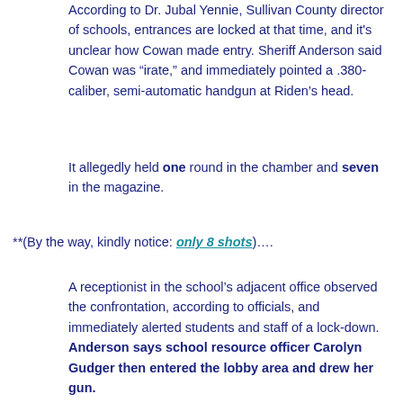According to Dr. Jubal Yennie, Sullivan County director of schools, entrances are locked at that time, and it's unclear how Cowan made entry. Sheriff Anderson said Cowan was “irate,” and immediately pointed a .380-caliber, semi-automatic handgun at Riden’s head.
It allegedly held one round in the chamber and seven in the magazine.
**(By the way, kindly notice: only 8 shots)….
A receptionist in the school’s adjacent office observed the confrontation, according to officials, and immediately alerted students and staff of a lock-down. Anderson says school resource officer Carolyn Gudger then entered the lobby area and drew her gun.